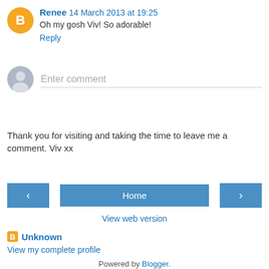Renee  14 March 2013 at 19:25
Oh my gosh Viv! So adorable!
Reply
[Figure (illustration): Blogger avatar icon: orange circle with white letter B]
[Figure (illustration): Generic user avatar: grey circle with person silhouette]
Enter comment
Thank you for visiting and taking the time to leave me a comment. Viv xx
< Home > View web version
Unknown
View my complete profile
Powered by Blogger.